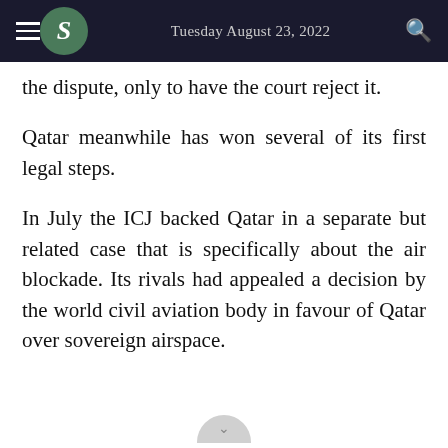Tuesday August 23, 2022
the dispute, only to have the court reject it.
Qatar meanwhile has won several of its first legal steps.
In July the ICJ backed Qatar in a separate but related case that is specifically about the air blockade. Its rivals had appealed a decision by the world civil aviation body in favour of Qatar over sovereign airspace.